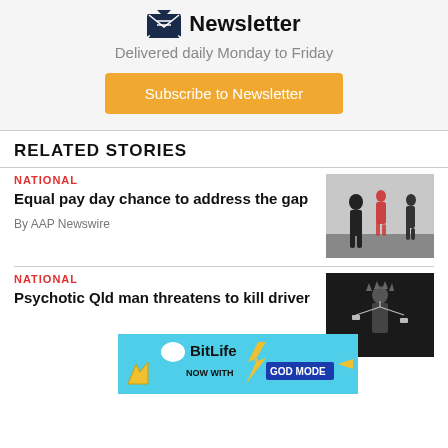Newsletter
Delivered daily Monday to Friday
Subscribe to Newsletter
RELATED STORIES
NATIONAL
Equal pay day chance to address the gap
By AAP Newswire
[Figure (photo): Silhouette of people walking, back-lit urban scene]
NATIONAL
Psychotic Qld man threatens to kill driver
[Figure (photo): Statue of Justice / Lady Justice with scales, dark background]
[Figure (other): BitLife advertisement banner: NOW WITH GOD MODE]